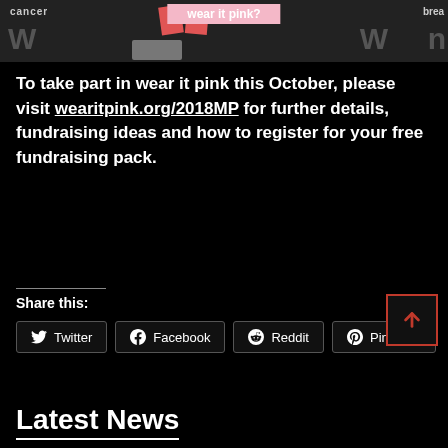[Figure (photo): Cropped photo showing people holding red/pink signs with text 'wear it pink?', 'cancer', 'brea', and large bold 'W' letters on a grey background]
To take part in wear it pink this October, please visit wearitpink.org/2018MP for further details, fundraising ideas and how to register for your free fundraising pack.
Share this:
Twitter
Facebook
Reddit
Pinterest
Latest News